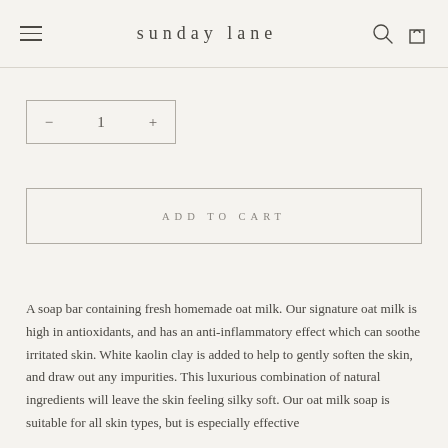sunday lane
[Figure (other): Quantity selector with minus button, number 1, and plus button inside a bordered box]
[Figure (other): Add to Cart button with bordered rectangle and spaced uppercase text 'ADD TO CART']
A soap bar containing fresh homemade oat milk. Our signature oat milk is high in antioxidants, and has an anti-inflammatory effect which can soothe irritated skin. White kaolin clay is added to help to gently soften the skin, and draw out any impurities. This luxurious combination of natural ingredients will leave the skin feeling silky soft. Our oat milk soap is suitable for all skin types, but is especially effective